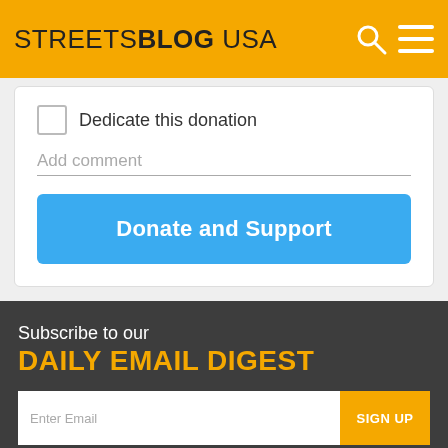STREETSBLOG USA
Dedicate this donation
Add comment
Donate and Support
Subscribe to our DAILY EMAIL DIGEST
Enter Email
SIGN UP